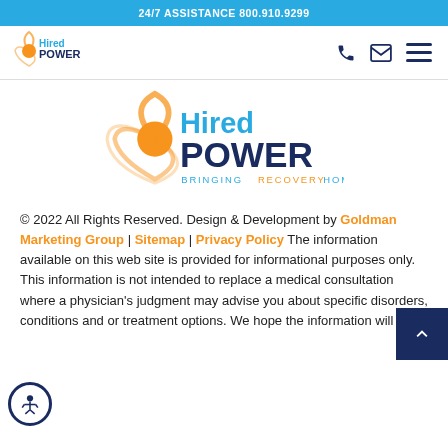24/7 ASSISTANCE 800.910.9299
[Figure (logo): Hired Power small logo in navigation bar]
[Figure (logo): Hired Power main logo centered - BRINGING RECOVERY HOME]
© 2022 All Rights Reserved. Design & Development by Goldman Marketing Group | Sitemap | Privacy Policy The information available on this web site is provided for informational purposes only. This information is not intended to replace a medical consultation where a physician's judgment may advise you about specific disorders, conditions and or treatment options. We hope the information will